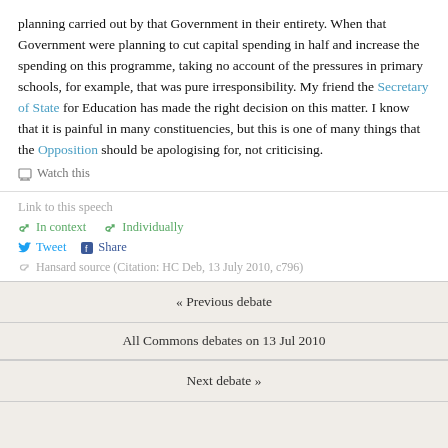planning carried out by that Government in their entirety. When that Government were planning to cut capital spending in half and increase the spending on this programme, taking no account of the pressures in primary schools, for example, that was pure irresponsibility. My friend the Secretary of State for Education has made the right decision on this matter. I know that it is painful in many constituencies, but this is one of many things that the Opposition should be apologising for, not criticising.
Watch this
Link to this speech
In context   Individually
Tweet   Share
Hansard source (Citation: HC Deb, 13 July 2010, c796)
« Previous debate
All Commons debates on 13 Jul 2010
Next debate »